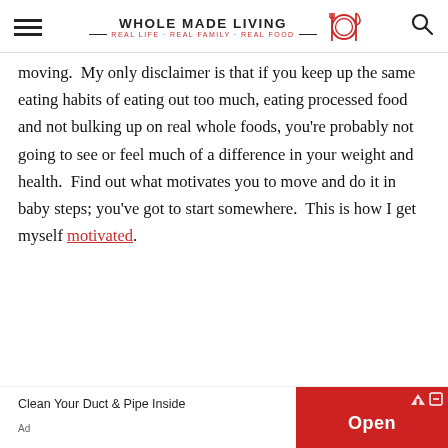WHOLE MADE LIVING — REAL LIFE · REAL FAMILY · REAL FOOD —
moving.  My only disclaimer is that if you keep up the same eating habits of eating out too much, eating processed food and not bulking up on real whole foods, you're probably not going to see or feel much of a difference in your weight and health.  Find out what motivates you to move and do it in baby steps; you've got to start somewhere.  This is how I get myself motivated.
[Figure (infographic): Advertisement banner: 'Clean Your Duct & Pipe Inside' with red Open button]